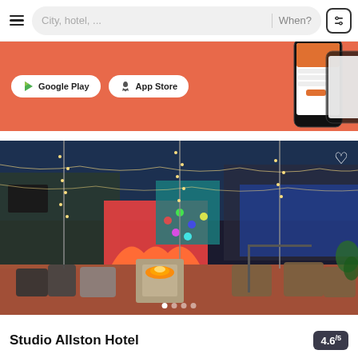City, hotel, ...  When?
[Figure (screenshot): Orange/coral promotional banner with Google Play and App Store download buttons, and a phone mockup showing hotel app]
[Figure (photo): Outdoor hotel patio/courtyard at night with string lights on trees, fire pit, seating area with lounge chairs, colorful mural wall, and blue sky]
Studio Allston Hotel
4.6/5